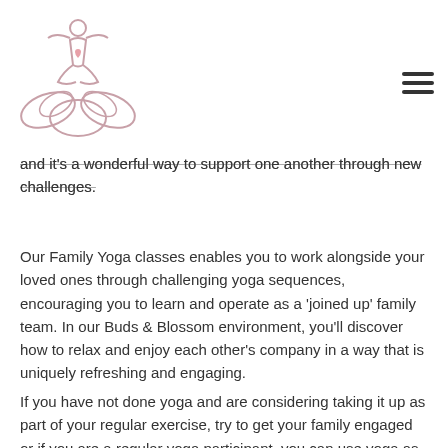[Figure (logo): Yoga logo — outline of a person in lotus pose with a heart, sitting on stylized lotus petals, in rose/blush pink tones]
and it's a wonderful way to support one another through new challenges.
Our Family Yoga classes enables you to work alongside your loved ones through challenging yoga sequences, encouraging you to learn and operate as a 'joined up' family team. In our Buds & Blossom environment, you'll discover how to relax and enjoy each other's company in a way that is uniquely refreshing and engaging.
If you have not done yoga and are considering taking it up as part of your regular exercise, try to get your family engaged or if you are a regular yoga participant, you can use yoga as a